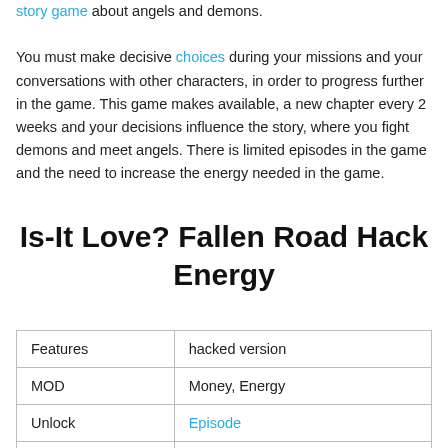story game about angels and demons. You must make decisive choices during your missions and your conversations with other characters, in order to progress further in the game. This game makes available, a new chapter every 2 weeks and your decisions influence the story, where you fight demons and meet angels. There is limited episodes in the game and the need to increase the energy needed in the game.
Is-It Love? Fallen Road Hack Energy
| Features | hacked version |
| --- | --- |
| MOD | Money, Energy |
| Unlock | Episode |
| Upgrade | Points |